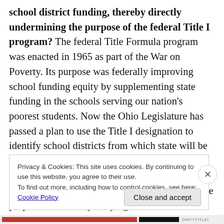school district funding, thereby directly undermining the purpose of the federal Title I program? The federal Title Formula program was enacted in 1965 as part of the War on Poverty. Its purpose was federally improving school funding equity by supplementing state funding in the schools serving our nation's poorest students. Now the Ohio Legislature has passed a plan to use the Title I designation to identify school districts from which state will be diverting funding for EdChoice vouchers for private and religious schools. Ironically and tragically, Ohio Senate Bill 89 will undermine the purpose of Title I by denying
Privacy & Cookies: This site uses cookies. By continuing to use this website, you agree to their use. To find out more, including how to control cookies, see here: Cookie Policy